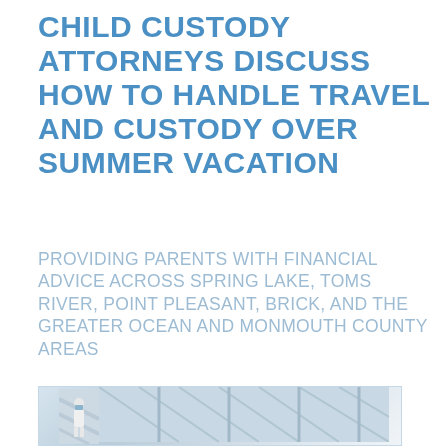CHILD CUSTODY ATTORNEYS DISCUSS HOW TO HANDLE TRAVEL AND CUSTODY OVER SUMMER VACATION
PROVIDING PARENTS WITH FINANCIAL ADVICE ACROSS SPRING LAKE, TOMS RIVER, POINT PLEASANT, BRICK, AND THE GREATER OCEAN AND MONMOUTH COUNTY AREAS
[Figure (photo): A person wearing a face mask walking through a corridor with large windows casting diagonal light shadows.]